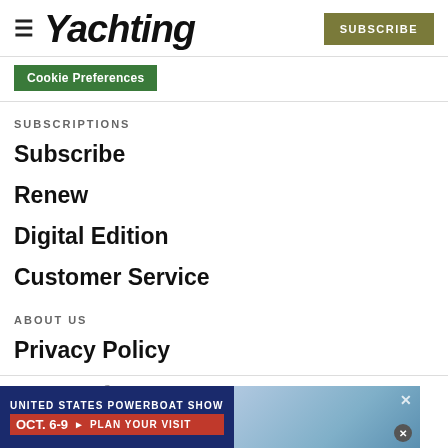Yachting | SUBSCRIBE
Cookie Preferences
SUBSCRIPTIONS
Subscribe
Renew
Digital Edition
Customer Service
ABOUT US
Privacy Policy
Terms of Use
Abuse
[Figure (screenshot): Advertisement banner for United States Powerboat Show, Oct. 6-9, Plan Your Visit, with image of boats in marina]